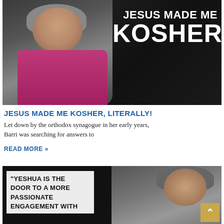[Figure (photo): Woman with gray hair wearing a pink/magenta cardigan sitting in a gray chair, smiling, against a dark background. White bold text overlay reads 'JESUS MADE ME KOSHER']
JESUS MADE ME KOSHER, LITERALLY!
Let down by the orthodox synagogue in her early years, Barri was searching for answers to
READ MORE »
[Figure (photo): Older man with glasses and gray hair smiling, against a dark background. White text box on left reads: "YESHUA IS THE DOOR TO A MORE PASSIONATE ENGAGEMENT WITH"]